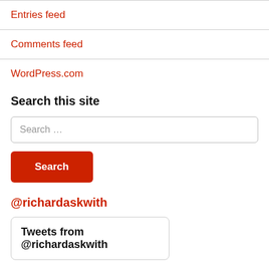Entries feed
Comments feed
WordPress.com
Search this site
Search ...
Search
@richardaskwith
Tweets from @richardaskwith